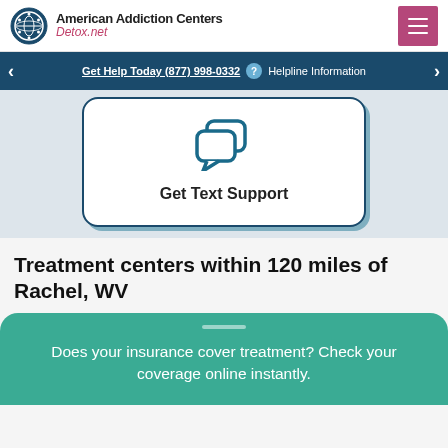American Addiction Centers Detox.net
Get Help Today (877) 998-0332  Helpline Information
[Figure (illustration): Chat/text support icon: two overlapping speech bubbles in dark teal color]
Get Text Support
Treatment centers within 120 miles of Rachel, WV
Does your insurance cover treatment? Check your coverage online instantly.